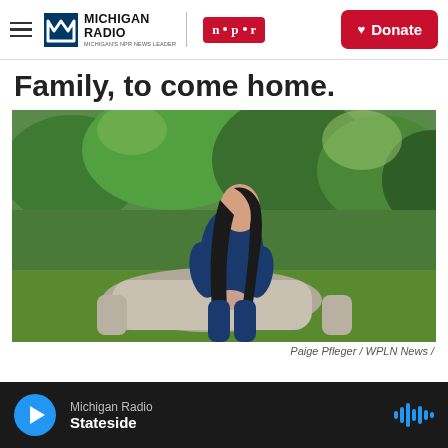Michigan Radio | NPR | Donate
Family, to come home.
[Figure (photo): A woman with long dark hair wearing blue scrubs sits on a stone bench outdoors, surrounded by green trees, looking to the side.]
Paige Pfleger / WPLN News /
Michigan Radio — Stateside